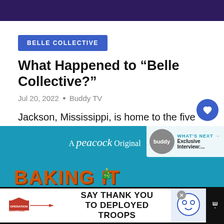[Figure (screenshot): Dark purple top banner strip]
BELLE COLLECTIVE
What Happened to “Belle Collective?”
Jul 20, 2022 • Buddy TV
Jackson, Mississippi, is home to the five southern belles of “Belle …
[Figure (screenshot): Peacock Original video player area with Baking It show banner, What's Next badge, and Buddy TV logo]
[Figure (screenshot): Operation Gratitude advertisement banner: SAY THANK YOU TO DEPLOYED TROOPS with close button]